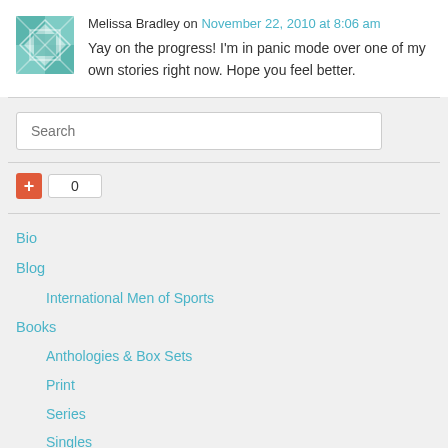[Figure (illustration): Tiled quilt-pattern avatar in teal/green and white geometric design]
Melissa Bradley on November 22, 2010 at 8:06 am
Yay on the progress! I'm in panic mode over one of my own stories right now. Hope you feel better.
[Figure (other): Search input box with placeholder text 'Search']
[Figure (other): Red plus button and counter box showing 0]
Bio
Blog
International Men of Sports
Books
Anthologies & Box Sets
Print
Series
Singles
Tiffany Aaron
Young Adult